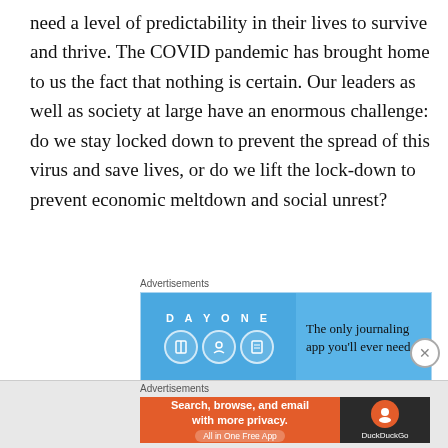need a level of predictability in their lives to survive and thrive. The COVID pandemic has brought home to us the fact that nothing is certain. Our leaders as well as society at large have an enormous challenge: do we stay locked down to prevent the spread of this virus and save lives, or do we lift the lock-down to prevent economic meltdown and social unrest?
[Figure (other): Advertisement banner for Day One journaling app. Light blue background with 'DAY ONE' text and app icons on the left, and 'The only journaling app you'll ever need.' text on the right.]
It is clear that changing human behaviour is one of the most important ways in which we can slow down the
[Figure (other): Advertisement banner for DuckDuckGo. Orange section on left with 'Search, browse, and email with more privacy. All in One Free App' text; dark section on right with DuckDuckGo logo.]